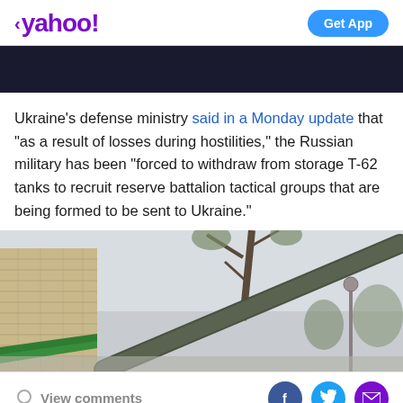< yahoo! | Get App
[Figure (screenshot): Dark banner image area, likely a news article hero image partially visible]
Ukraine's defense ministry said in a Monday update that "as a result of losses during hostilities," the Russian military has been "forced to withdraw from storage T-62 tanks to recruit reserve battalion tactical groups that are being formed to be sent to Ukraine."
[Figure (photo): Photo of what appears to be a tank barrel or military cannon angled upward, with trees, a building with brick facade and green roof, a street lamp, and overcast sky in the background]
View comments | Facebook | Twitter | Email share buttons